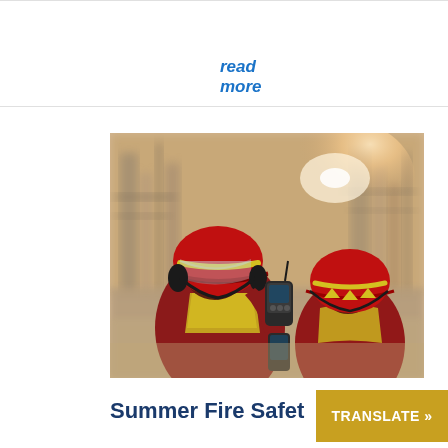read more
[Figure (photo): Two firefighters in red helmets with yellow reflective strips and red uniforms, viewed from behind, using walkie-talkies at an industrial site with warm lens flare in the background.]
Summer Fire Safet
TRANSLATE »